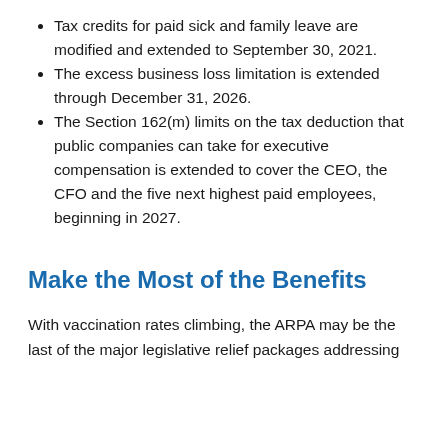Tax credits for paid sick and family leave are modified and extended to September 30, 2021.
The excess business loss limitation is extended through December 31, 2026.
The Section 162(m) limits on the tax deduction that public companies can take for executive compensation is extended to cover the CEO, the CFO and the five next highest paid employees, beginning in 2027.
Make the Most of the Benefits
With vaccination rates climbing, the ARPA may be the last of the major legislative relief packages addressing